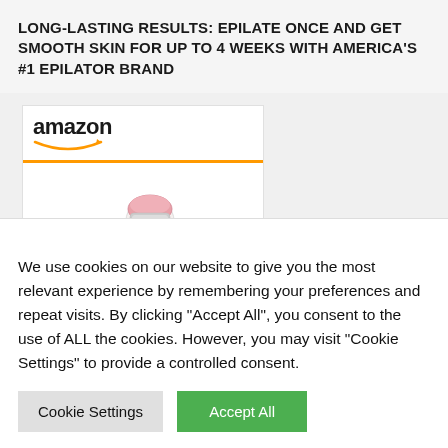LONG-LASTING RESULTS: EPILATE ONCE AND GET SMOOTH SKIN FOR UP TO 4 WEEKS WITH AMERICA'S #1 EPILATOR BRAND
[Figure (screenshot): Amazon product card showing Braun Epilator (Silk-épil series) with product image of epilator device and attachments. Amazon logo with orange smile underline at top. Product title link in blue text: 'Braun Epilator Silk-épil...']
We use cookies on our website to give you the most relevant experience by remembering your preferences and repeat visits. By clicking "Accept All", you consent to the use of ALL the cookies. However, you may visit "Cookie Settings" to provide a controlled consent.
Cookie Settings | Accept All